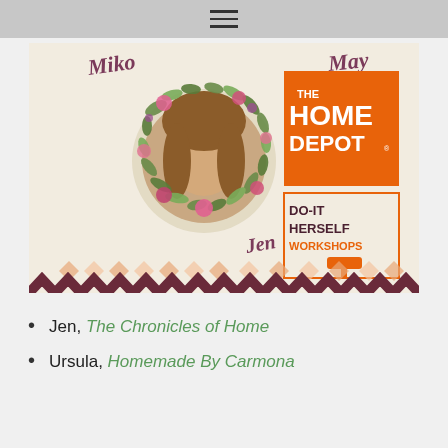☰
[Figure (illustration): Promotional banner image for The Home Depot Do-It Herself Workshops featuring a woman named Jen framed by a floral wreath, with The Home Depot logo. Cursive text reads 'Jen', 'Miko', 'May' on a linen-textured background with decorative diamond and chevron borders.]
Jen, The Chronicles of Home
Ursula, Homemade By Carmona